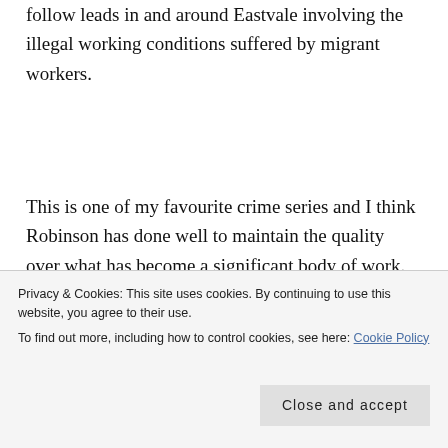follow leads in and around Eastvale involving the illegal working conditions suffered by migrant workers.
This is one of my favourite crime series and I think Robinson has done well to maintain the quality over what has become a significant body of work. That said, I enjoyed this book more than the last few in the
Privacy & Cookies: This site uses cookies. By continuing to use this website, you agree to their use.
To find out more, including how to control cookies, see here: Cookie Policy
Close and accept